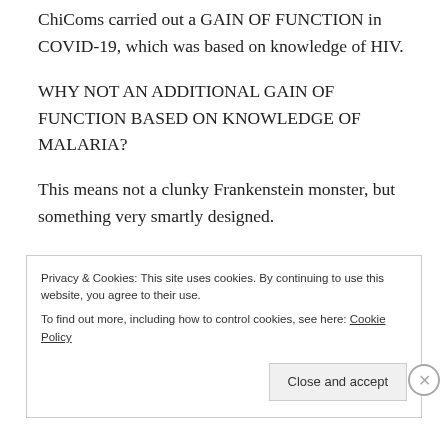ChiComs carried out a GAIN OF FUNCTION in COVID-19, which was based on knowledge of HIV.
WHY NOT AN ADDITIONAL GAIN OF FUNCTION BASED ON KNOWLEDGE OF MALARIA?
This means not a clunky Frankenstein monster, but something very smartly designed.
Sure would explain why the bad guys are so set off by mention of “hydroxychloroquine”, wouldn’t it? If this is true, then Trump is basically TROLLING THE BAD
Privacy & Cookies: This site uses cookies. By continuing to use this website, you agree to their use.
To find out more, including how to control cookies, see here: Cookie Policy
Close and accept